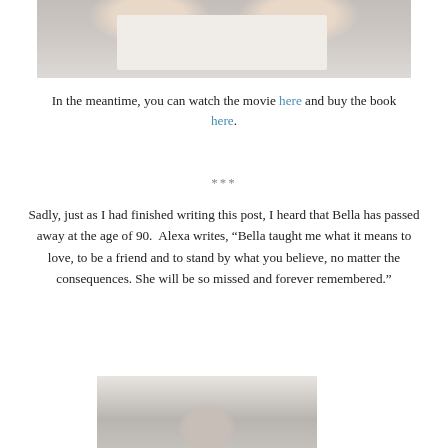[Figure (photo): Hands holding an open book on a marble surface, viewed from above]
In the meantime, you can watch the movie here and buy the book here.
***
Sadly, just as I had finished writing this post, I heard that Bella has passed away at the age of 90. Alexa writes, “Bella taught me what it means to love, to be a friend and to stand by what you believe, no matter the consequences. She will be so missed and forever remembered.”
[Figure (photo): Portrait photo of an elderly person with white/grey hair]